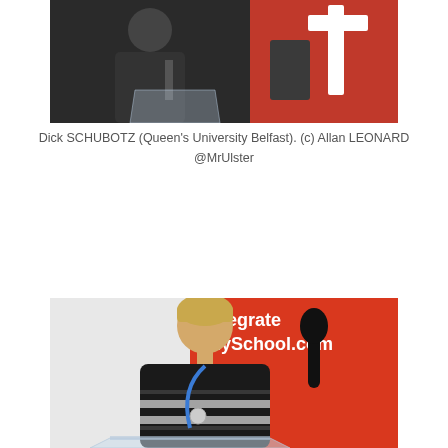[Figure (photo): A person speaking at a podium in front of a red banner with a white cross or plus symbol, partially visible. Dark clothing, indoor event setting.]
Dick SCHUBOTZ (Queen's University Belfast). (c) Allan LEONARD @MrUlster
[Figure (photo): A woman with short blonde hair standing at a podium/lectern, wearing a black and white striped sweater with a blue lanyard. Behind her is a large red banner reading 'integratemySchool.com' with partially visible text 'grated', 'ion.', 'ubtract.' She is speaking at an event.]